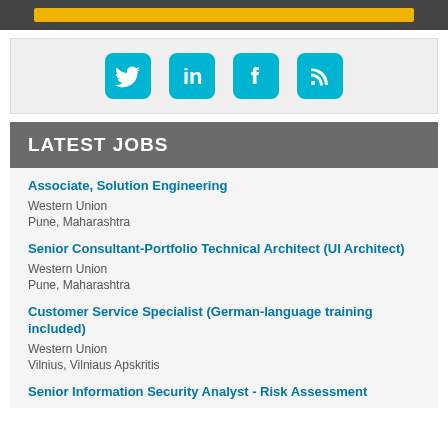[Figure (other): Top dark banner with a yellow/gold horizontal bar]
[Figure (other): Social media icons: Twitter, LinkedIn, Facebook, RSS feed in cyan/teal rounded square buttons on light gray background]
LATEST JOBS
Associate, Solution Engineering
Western Union
Pune, Maharashtra
Senior Consultant-Portfolio Technical Architect (UI Architect)
Western Union
Pune, Maharashtra
Customer Service Specialist (German-language training included)
Western Union
Vilnius, Vilniaus Apskritis
Senior Information Security Analyst - Risk Assessment